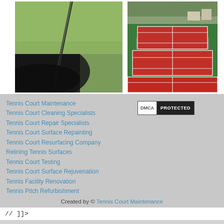[Figure (photo): Aerial/angled view of a green tennis court surface with shadow patterns and a fence post visible]
[Figure (photo): Aerial view of multiple red and green tennis courts with white lines, surrounded by trees]
Tennis Court Maintenance
Tennis Court Cleaning Specialists
Tennis Court Repair Specialists
Tennis Court Surface Repainting
Tennis Court Resurfacing Company
Relining Tennis Surfaces
Tennis Court Testing
Tennis Court Surface Rejuvenation
Tennis Facility Renovation
Tennis Pitch Refurbishment
[Figure (logo): DMCA PROTECTED badge]
Created by © Tennis Court Maintenance
// ]]>